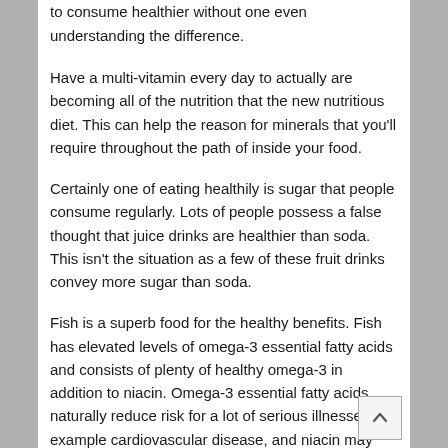to consume healthier without one even understanding the difference.
Have a multi-vitamin every day to actually are becoming all of the nutrition that the new nutritious diet. This can help the reason for minerals that you'll require throughout the path of inside your food.
Certainly one of eating healthily is sugar that people consume regularly. Lots of people possess a false thought that juice drinks are healthier than soda. This isn't the situation as a few of these fruit drinks convey more sugar than soda.
Fish is a superb food for the healthy benefits. Fish has elevated levels of omega-3 essential fatty acids and consists of plenty of healthy omega-3 in addition to niacin. Omega-3 essential fatty acids naturally reduce risk for a lot of serious illnesses, for example cardiovascular disease, and niacin may help avoid Alzheimer's.